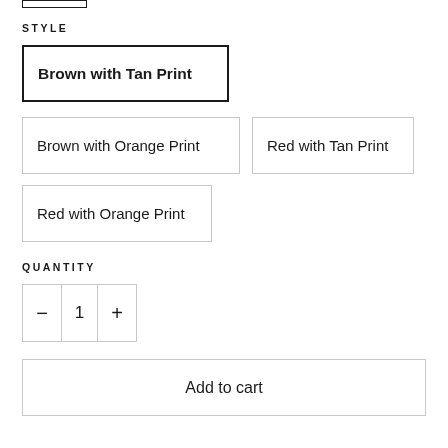STYLE
Brown with Tan Print
Brown with Orange Print
Red with Tan Print
Red with Orange Print
QUANTITY
1
Add to cart